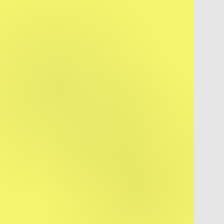[Figure (other): Yellow textured panel on the left side of the page]
[Figure (other): Gray panel in the center-right area of the page]
your first lines:
[Figure (other): White rounded rectangle box on the far right side]